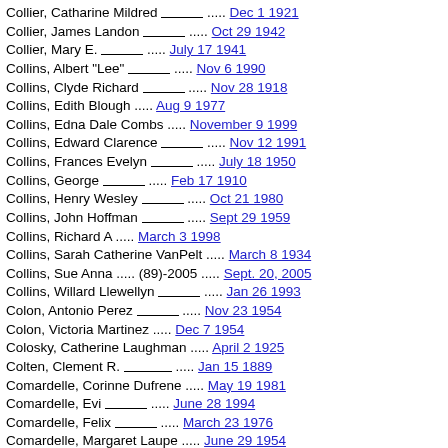Collier, Catharine Mildred ______ ..... Dec 1 1921
Collier, James Landon ______ ..... Oct 29 1942
Collier, Mary E. ______ ..... July 17 1941
Collins, Albert "Lee" ______ ..... Nov 6 1990
Collins, Clyde Richard ______ ..... Nov 28 1918
Collins, Edith Blough ..... Aug 9 1977
Collins, Edna Dale Combs ..... November 9 1999
Collins, Edward Clarence ______ ..... Nov 12 1991
Collins, Frances Evelyn ______ ..... July 18 1950
Collins, George ______ ..... Feb 17 1910
Collins, Henry Wesley ______ ..... Oct 21 1980
Collins, John Hoffman ______ ..... Sept 29 1959
Collins, Richard A ..... March 3 1998
Collins, Sarah Catherine VanPelt ..... March 8 1934
Collins, Sue Anna ..... (89)-2005 ..... Sept. 20, 2005
Collins, Willard Llewellyn ______ ..... Jan 26 1993
Colon, Antonio Perez ______ ..... Nov 23 1954
Colon, Victoria Martinez ..... Dec 7 1954
Colosky, Catherine Laughman ..... April 2 1925
Colten, Clement R. _______ ..... Jan 15 1889
Comardelle, Corinne Dufrene ..... May 19 1981
Comardelle, Evi ______ ..... June 28 1994
Comardelle, Felix ______ ..... March 23 1976
Comardelle, Margaret Laupe ..... June 29 1954
Comardelle, Philip _______ ..... May 28 1946